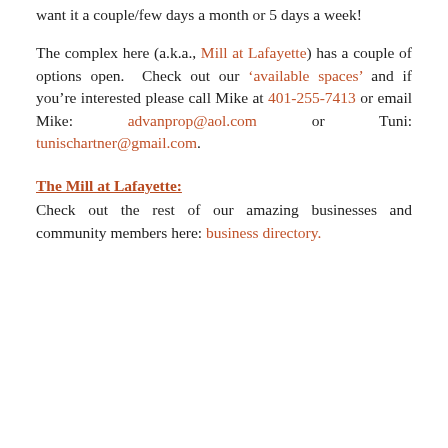want it a couple/few days a month or 5 days a week!
The complex here (a.k.a., Mill at Lafayette) has a couple of options open. Check out our ‘available spaces’ and if you’re interested please call Mike at 401-255-7413 or email Mike: advanprop@aol.com or Tuni: tunischartner@gmail.com.
The Mill at Lafayette:
Check out the rest of our amazing businesses and community members here: business directory.